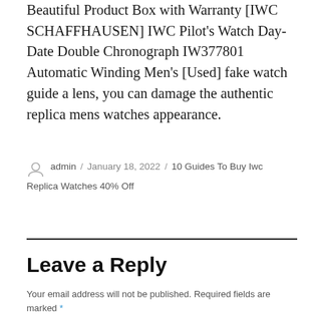Beautiful Product Box with Warranty [IWC SCHAFFHAUSEN] IWC Pilot's Watch Day-Date Double Chronograph IW377801 Automatic Winding Men's [Used] fake watch guide a lens, you can damage the authentic replica mens watches appearance.
admin / January 18, 2022 / 10 Guides To Buy Iwc Replica Watches 40% Off
Leave a Reply
Your email address will not be published. Required fields are marked *